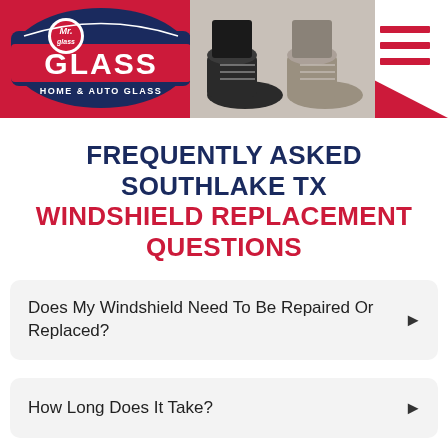[Figure (logo): Mr. Glass Home & Auto Glass logo with red and navy badge design]
[Figure (photo): Close-up photo of two pairs of shoes/feet at ground level]
FREQUENTLY ASKED SOUTHLAKE TX WINDSHIELD REPLACEMENT QUESTIONS
Does My Windshield Need To Be Repaired Or Replaced?
How Long Does It Take?